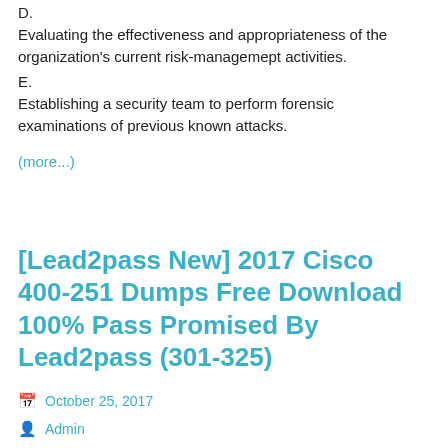D.    Evaluating the effectiveness and appropriateness of the organization's current risk-managemept activities.
E.    Establishing a security team to perform forensic examinations of previous known attacks.
(more...)
[Lead2pass New] 2017 Cisco 400-251 Dumps Free Download 100% Pass Promised By Lead2pass (301-325)
October 25, 2017
Admin
400-251 Dumps, 400-251 Exam Questions, 400-251 New